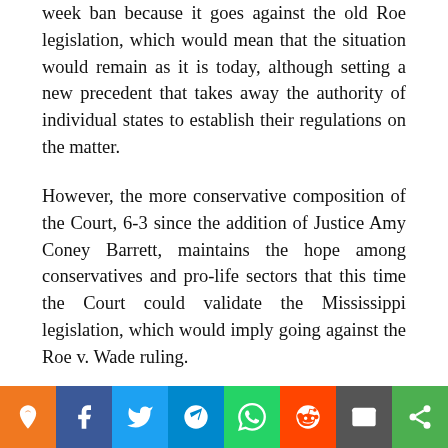week ban because it goes against the old Roe legislation, which would mean that the situation would remain as it is today, although setting a new precedent that takes away the authority of individual states to establish their regulations on the matter.
However, the more conservative composition of the Court, 6-3 since the addition of Justice Amy Coney Barrett, maintains the hope among conservatives and pro-life sectors that this time the Court could validate the Mississippi legislation, which would imply going against the Roe v. Wade ruling.
The hope of conservatives is also supported by the fact that the Court has agreed to hear Reeves' case so close to and opposed to Roe could indicate its willingness to res...
[Figure (infographic): Social media sharing bar with icons: orange location/pin icon, blue Facebook icon, light blue Twitter icon, teal Telegram icon, green WhatsApp icon, red Reddit icon, gray email icon, green share icon]